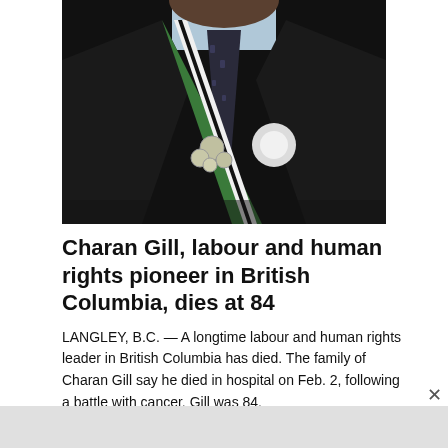[Figure (photo): Photograph of Charan Gill wearing a dark suit, patterned tie, and a green-and-white sash with medals pinned to it. The image is cropped to show him from the chest up against a dark background.]
Charan Gill, labour and human rights pioneer in British Columbia, dies at 84
LANGLEY, B.C. — A longtime labour and human rights leader in British Columbia has died. The family of Charan Gill say he died in hospital on Feb. 2, following a battle with cancer. Gill was 84.
Feb 3, 2021 7:30 AM Read more >